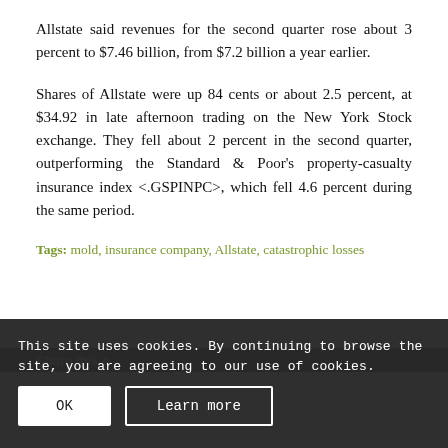Allstate said revenues for the second quarter rose about 3 percent to $7.46 billion, from $7.2 billion a year earlier.
Shares of Allstate were up 84 cents or about 2.5 percent, at $34.92 in late afternoon trading on the New York Stock exchange. They fell about 2 percent in the second quarter, outperforming the Standard & Poor's property-casualty insurance index <.GSPINPC>, which fell 4.6 percent during the same period.
Tags: mold, insurance company, Allstate, catastrophic losses
Share this e
This site uses cookies. By continuing to browse the site, you are agreeing to our use of cookies.